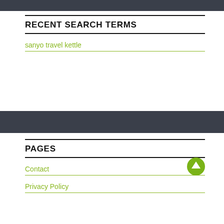RECENT SEARCH TERMS
sanyo travel kettle
PAGES
Contact
Privacy Policy